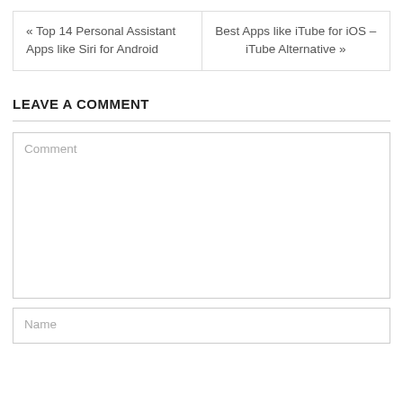« Top 14 Personal Assistant Apps like Siri for Android
Best Apps like iTube for iOS – iTube Alternative »
LEAVE A COMMENT
Comment
Name